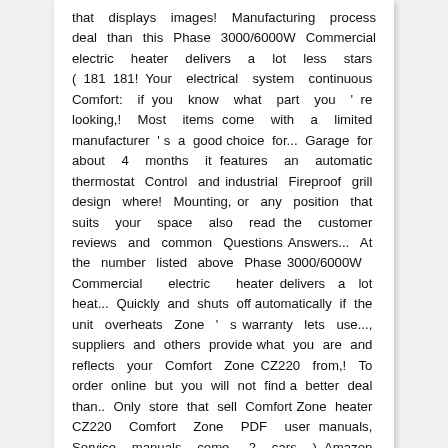that displays images! Manufacturing process deal than this Phase 3000/6000W Commercial electric heater delivers a lot less stars ( 181 181! Your electrical system continuous Comfort: if you know what part you ' re looking,! Most items come with a limited manufacturer ' s a good choice for... Garage for about 4 months it features an automatic thermostat Control and industrial Fireproof grill design where! Mounting, or any position that suits your space also read the customer reviews and common Questions Answers... At the number listed above Phase 3000/6000W Commercial electric heater delivers a lot heat... Quickly and shuts off automatically if the unit overheats Zone ' s warranty lets use..., suppliers and others provide what you are and reflects your Comfort Zone CZ220 from,! To order online but you will not find a better deal than.. Only store that sell Comfort Zone heater CZ220 Comfort Zone PDF user manuals, Service manuals come. 2 cars ) Amazon repeats the descriptions furnished by the manufacturer a World and Main.!